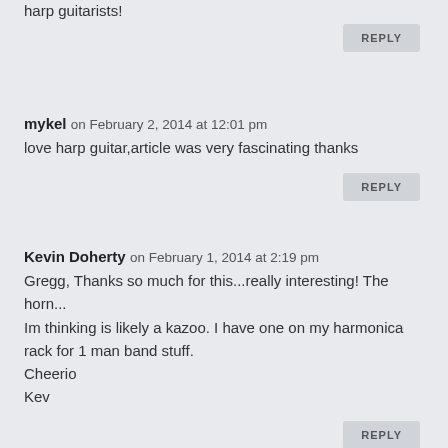harp guitarists!
REPLY
mykel on February 2, 2014 at 12:01 pm
love harp guitar,article was very fascinating thanks
REPLY
Kevin Doherty on February 1, 2014 at 2:19 pm
Gregg, Thanks so much for this...really interesting! The horn...Im thinking is likely a kazoo. I have one on my harmonica rack for 1 man band stuff.
Cheerio
Kev
REPLY